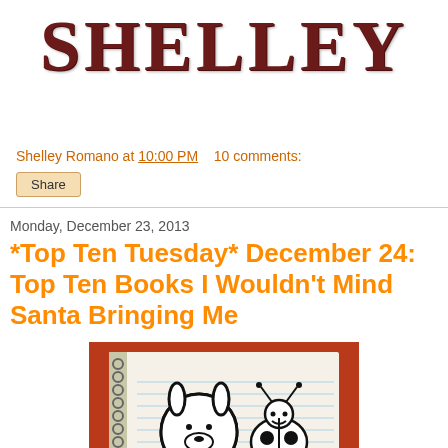SHELLEY
Shelley Romano at 10:00 PM   10 comments:
Share
Monday, December 23, 2013
*Top Ten Tuesday* December 24: Top Ten Books I Wouldn't Mind Santa Bringing Me
[Figure (photo): A spiral-bound notebook with hand-drawn cartoon characters (a round dog face and a ladybug) on a red background, with a pen resting on it]